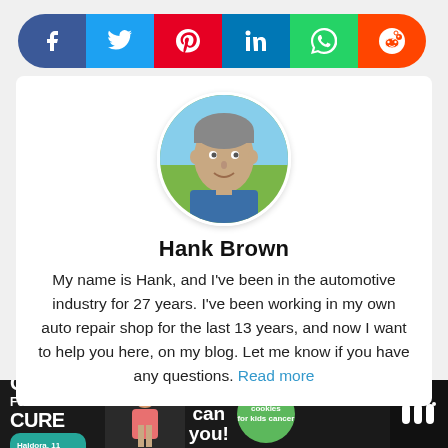[Figure (other): Social media sharing buttons: Facebook (blue), Twitter (light blue), Pinterest (red), LinkedIn (dark blue), WhatsApp (green), Reddit (orange), displayed as a rounded pill-shaped bar]
[Figure (photo): Circular profile photo of Hank Brown, a middle-aged man with grey-streaked hair, smiling, wearing a blue shirt, outdoors background]
Hank Brown
My name is Hank, and I've been in the automotive industry for 27 years. I've been working in my own auto repair shop for the last 13 years, and now I want to help you here, on my blog. Let me know if you have any questions. Read more
[Figure (infographic): Advertisement banner at the bottom: 'I Bake COOKIES For A CURE' with image of a girl holding cookies, 'So can you!' text, green Cookies for Kids Cancer badge, close button, and a dark logo on the right]